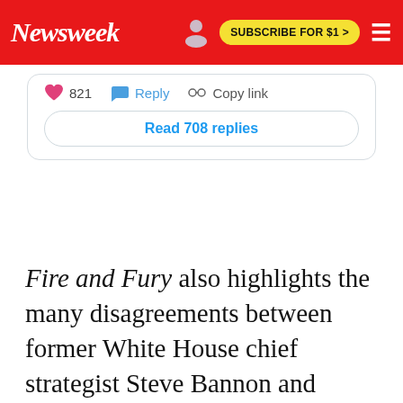Newsweek — SUBSCRIBE FOR $1 >
[Figure (screenshot): Partial tweet embed showing 821 likes, Reply, Copy link actions, and a 'Read 708 replies' button]
Fire and Fury also highlights the many disagreements between former White House chief strategist Steve Bannon and "Javanka," his nickname for Ivanka and her husband.